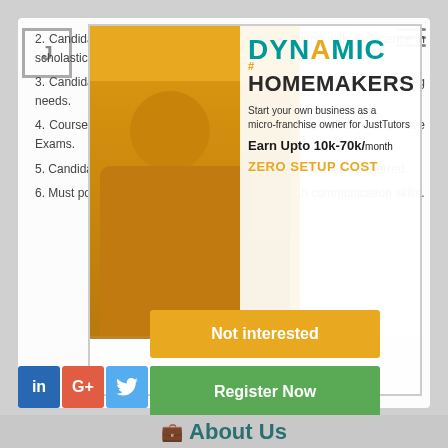2. Candidates with Strong Teaching Experience along with experience in scholastic exam training will be preferred.
3. Candidates must have a clear understanding of teaching and learning needs.
4. Course students, who need to excel in School as well as Competitive Exams.
5. Candidates with a habit of continuous self learning will be preferred.
6. Must possess excellent presentation and English communication skills.
[Figure (infographic): Ad overlay for Dynamic Homemakers / JustTutors micro-franchise with woman image, teal and yellow branding, earn 10k-70k/month, zero setup cost text]
Not interested
Register Now
[Figure (logo): Social media icons: LinkedIn, Google+, Twitter, Facebook]
About Us
LHGS foster the innate potential of each student in an inspiring